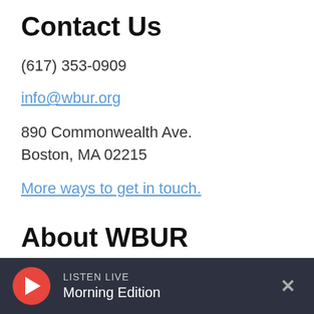Contact Us
(617) 353-0909
info@wbur.org
890 Commonwealth Ave.
Boston, MA 02215
More ways to get in touch.
About WBUR
Who We Are
Inside WBUR
LISTEN LIVE
Morning Edition